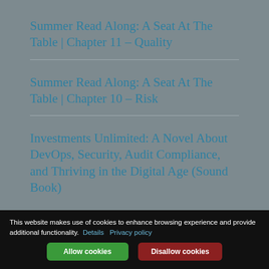Summer Read Along: A Seat At The Table | Chapter 11 – Quality
Summer Read Along: A Seat At The Table | Chapter 10 – Risk
Investments Unlimited: A Novel About DevOps, Security, Audit Compliance, and Thriving in the Digital Age (Sound Book)
This website makes use of cookies to enhance browsing experience and provide additional functionality. Details Privacy policy Allow cookies Disallow cookies